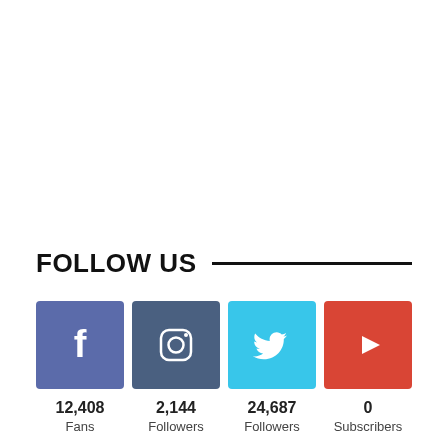FOLLOW US
[Figure (infographic): Social media follow counts: Facebook 12,408 Fans, Instagram 2,144 Followers, Twitter 24,687 Followers, YouTube 0 Subscribers]